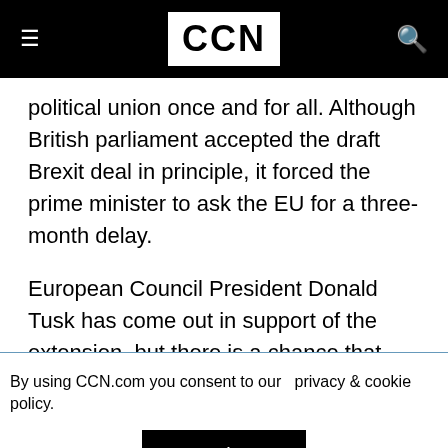CCN
political union once and for all. Although British parliament accepted the draft Brexit deal in principle, it forced the prime minister to ask the EU for a three-month delay.
European Council President Donald Tusk has come out in support of the extension, but there is a chance that some EU members will demand a shorter exit timetable.
By using CCN.com you consent to our privacy & cookie policy. Continue